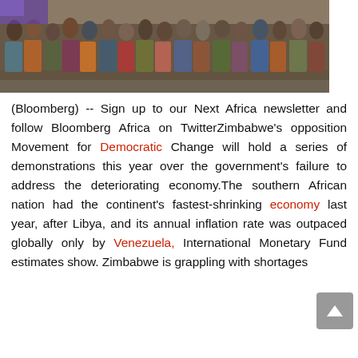[Figure (photo): A large crowd of people standing in a line along a wall, people wearing colorful traditional and casual clothing, appears to be in Africa.]
(Bloomberg) -- Sign up to our Next Africa newsletter and follow Bloomberg Africa on TwitterZimbabwe's opposition Movement for Democratic Change will hold a series of demonstrations this year over the government's failure to address the deteriorating economy.The southern African nation had the continent's fastest-shrinking economy last year, after Libya, and its annual inflation rate was outpaced globally only by Venezuela, International Monetary Fund estimates show. Zimbabwe is grappling with shortages